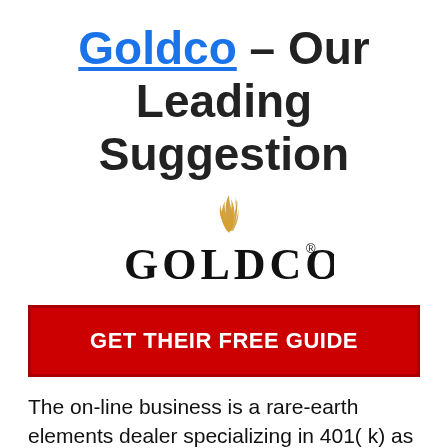Goldco – Our Leading Suggestion
[Figure (logo): Goldco company logo with golden flame icon above the word GOLDCO in bold black serif letters with a registered trademark symbol]
GET THEIR FREE GUIDE
The on-line business is a rare-earth elements dealer specializing in 401( k) as well as IRA rollovers. In the past, the firm was called Goldco Precious Metals as well as Goldco Direct. The company was established in